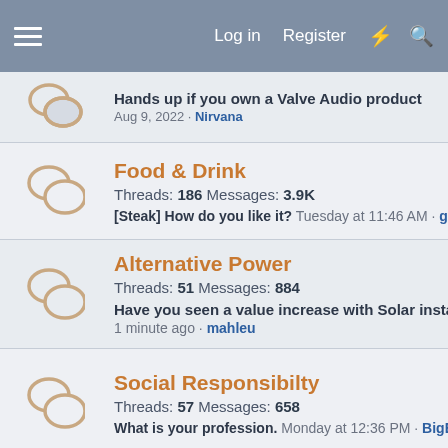Log in  Register
Hands up if you own a Valve Audio product
Aug 9, 2022 · Nirvana
Food & Drink
Threads: 186 Messages: 3.9K
[Steak] How do you like it? Tuesday at 11:46 AM · gavinbirss
Alternative Power
Threads: 51 Messages: 884
Have you seen a value increase with Solar install on sale of y...
1 minute ago · mahleu
Social Responsibilty
Threads: 57 Messages: 658
What is your profession. Monday at 12:36 PM · BigEd
Legendary Threads